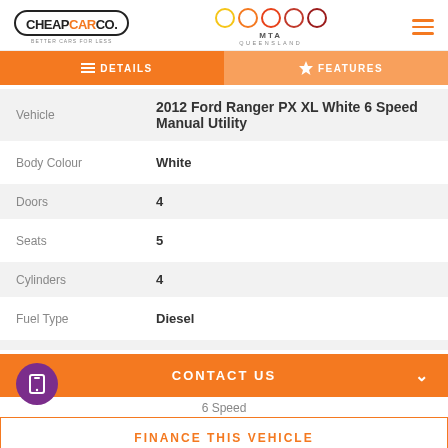[Figure (logo): CheapCarCo logo with oval border and MTA Queensland logo with colored circles]
|  |  |
| --- | --- |
| Vehicle | 2012 Ford Ranger PX XL White 6 Speed Manual Utility |
| Body Colour | White |
| Doors | 4 |
| Seats | 5 |
| Cylinders | 4 |
| Fuel Type | Diesel |
CONTACT US
6 Speed
FINANCE THIS VEHICLE